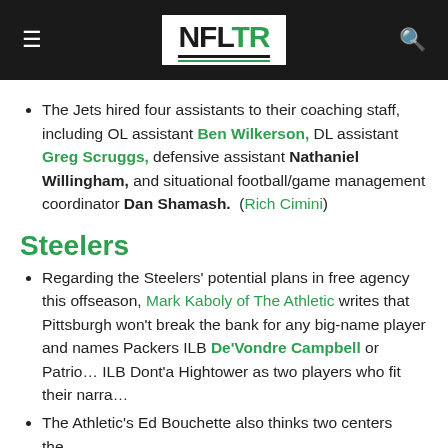NFLTR logo with hamburger menu and search icon
The Jets hired four assistants to their coaching staff, including OL assistant Ben Wilkerson, DL assistant Greg Scruggs, defensive assistant Nathaniel Willingham, and situational football/game management coordinator Dan Shamash. (Rich Cimini)
Steelers
Regarding the Steelers' potential plans in free agency this offseason, Mark Kaboly of The Athletic writes that Pittsburgh won't break the bank for any big-name player and names Packers ILB De'Vondre Campbell or Patriots ILB Dont'a Hightower as two players who fit their narra…
The Athletic's Ed Bouchette also thinks two centers the…